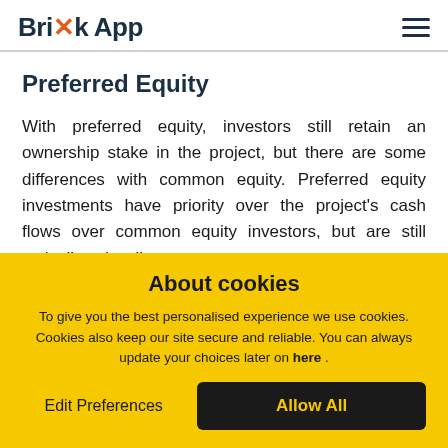BrikApp [hamburger menu]
Preferred Equity
With preferred equity, investors still retain an ownership stake in the project, but there are some differences with common equity. Preferred equity investments have priority over the project's cash flows over common equity investors, but are still typically subordinate to
About cookies
To give you the best personalised experience we use cookies. Cookies also keep our site secure and reliable. You can always update your choices later on here .
Edit Preferences | Allow All